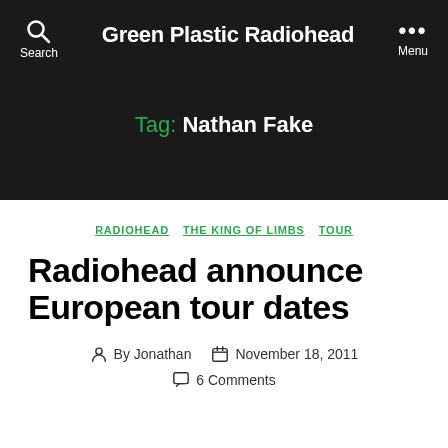Green Plastic Radiohead
Tag: Nathan Fake
RADIOHEAD   THE KING OF LIMBS   TOUR
Radiohead announce European tour dates
By Jonathan   November 18, 2011   6 Comments